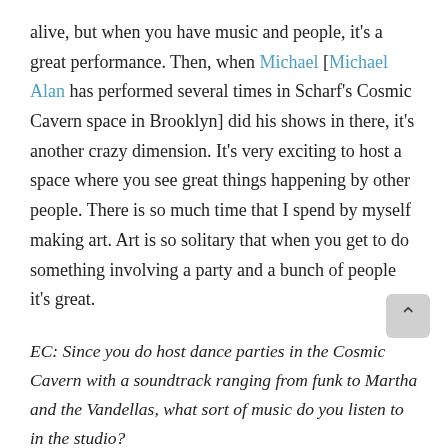alive, but when you have music and people, it's a great performance. Then, when Michael [Michael Alan has performed several times in Scharf's Cosmic Cavern space in Brooklyn] did his shows in there, it's another crazy dimension. It's very exciting to host a space where you see great things happening by other people. There is so much time that I spend by myself making art. Art is so solitary that when you get to do something involving a party and a bunch of people it's great.
EC: Since you do host dance parties in the Cosmic Cavern with a soundtrack ranging from funk to Martha and the Vandellas, what sort of music do you listen to in the studio?
KS: I'm kind of lazy. I used to listen to a lot of my friends'